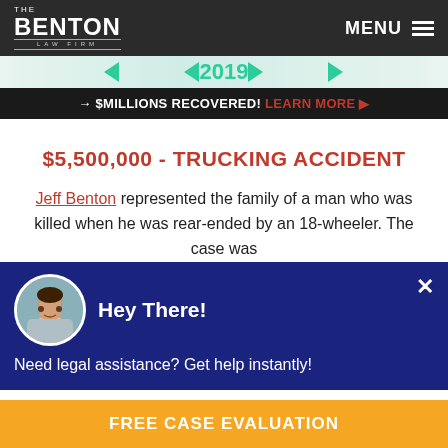The Benton Law Firm | MENU
[Figure (screenshot): Partial banner image with teal arrows and '2019' text]
→ $MILLIONS RECOVERED! LEARN MORE ▶
$5,500,000 - TRUCKING ACCIDENT
Jeff Benton represented the family of a man who was killed when he was rear-ended by an 18-wheeler. The case was resolved approximately one year after the incident
[Figure (illustration): Chat popup widget with female avatar, 'Hey There!' heading, and 'Need legal assistance? Get help instantly!' message]
FREE CASE EVALUATION